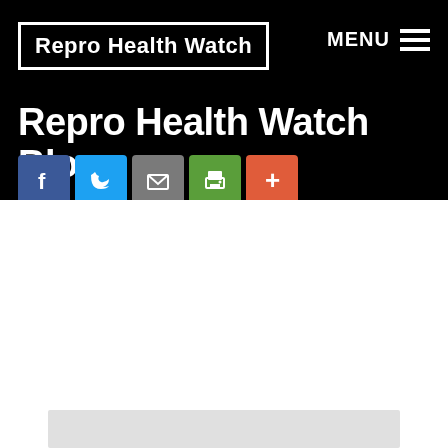Repro Health Watch
Repro Health Watch Blog
[Figure (infographic): Social sharing icons row: Facebook (blue), Twitter (light blue), Email (grey), Print (green), More (orange-red)]
[Figure (photo): Partial image visible at the bottom of the page, light grey background with a figure emerging from the bottom]